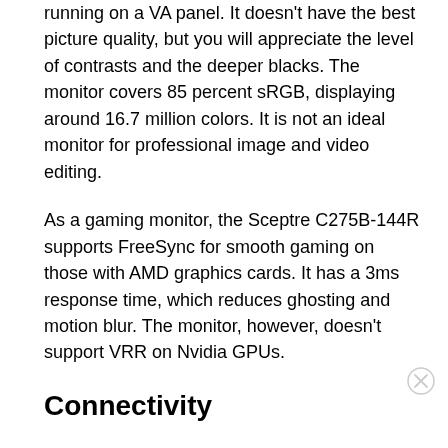running on a VA panel. It doesn't have the best picture quality, but you will appreciate the level of contrasts and the deeper blacks. The monitor covers 85 percent sRGB, displaying around 16.7 million colors. It is not an ideal monitor for professional image and video editing.
As a gaming monitor, the Sceptre C275B-144R supports FreeSync for smooth gaming on those with AMD graphics cards. It has a 3ms response time, which reduces ghosting and motion blur. The monitor, however, doesn't support VRR on Nvidia GPUs.
Connectivity
1 x HDMI
1 x DisplayPort
1 x DVI
1 x Audio I/O